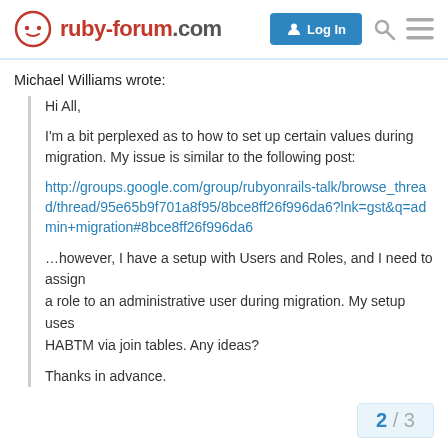ruby-forum.com — Log In
Michael Williams wrote:
Hi All,

I'm a bit perplexed as to how to set up certain values during migration. My issue is similar to the following post:

http://groups.google.com/group/rubyonrails-talk/browse_thread/thread/95e65b9f701a8f95/8bce8ff26f996da6?lnk=gst&q=admin+migration#8bce8ff26f996da6

…however, I have a setup with Users and Roles, and I need to assign
a role to an administrative user during migration. My setup uses
HABTM via join tables. Any ideas?

Thanks in advance.
2 / 3